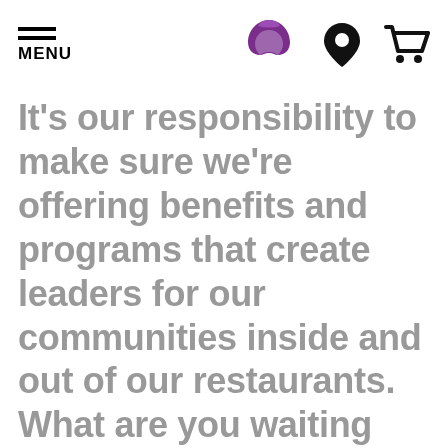MENU [Taco Bell logo] [Location icon] [Cart icon]
It's our responsibility to make sure we're offering benefits and programs that create leaders for our communities inside and out of our restaurants. What are you waiting for? Kick start your career and fill out an online application